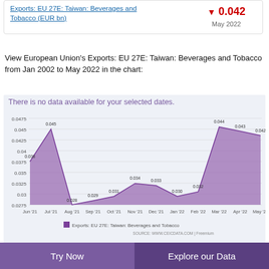Exports: EU 27E: Taiwan: Beverages and Tobacco (EUR bn) ▼ 0.042 May 2022
View European Union's Exports: EU 27E: Taiwan: Beverages and Tobacco from Jan 2002 to May 2022 in the chart:
[Figure (area-chart): Exports: EU 27E: Taiwan: Beverages and Tobacco]
Exports: EU 27E: Taiwan:
Try Now
Explore our Data